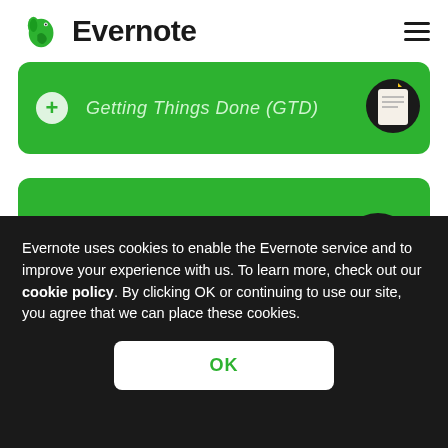Evernote
[Figure (screenshot): Partially visible green card with italic text and thumbnail image at top]
[Figure (screenshot): Green card with plus icon labeled Home and Garden with flower thumbnail]
[Figure (screenshot): Partially visible green card at bottom]
Evernote uses cookies to enable the Evernote service and to improve your experience with us. To learn more, check out our cookie policy. By clicking OK or continuing to use our site, you agree that we can place these cookies.